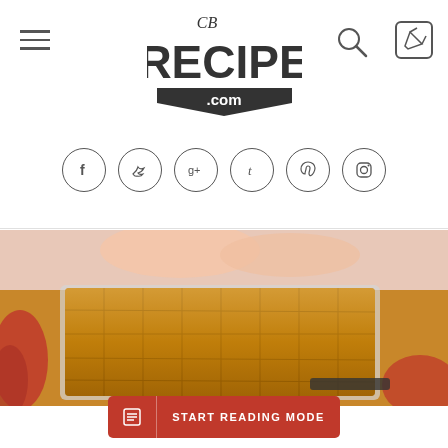[Figure (logo): CB Recipe .com logo]
[Figure (photo): Hands presenting a tray of golden-brown pumpkin bars cut into squares, with red fabric decoration]
START READING MODE